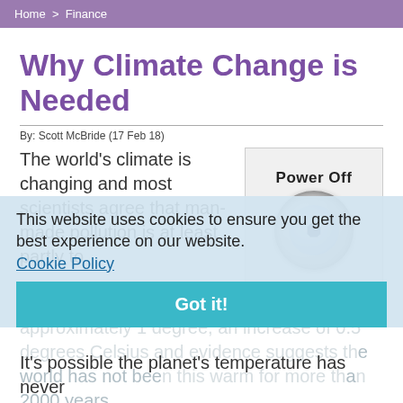Home > Finance
Why Climate Change is Needed
By: Scott McBride (17 Feb 18)
The world's climate is changing and most scientists agree that man-made pollution is at least partly to blame. Global temperatures have risen by approximately 1 degree, an increase of 0.5 degrees Celsius and evidence suggests the world has not been this warm for more than 2000 years.
[Figure (photo): Power Off button/knob image]
This website uses cookies to ensure you get the best experience on our website. Cookie Policy
Got it!
It's possible the planet's temperature has never